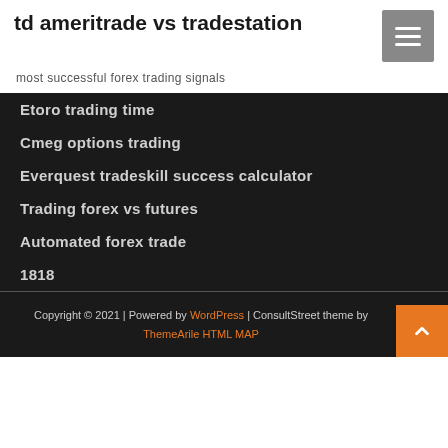td ameritrade vs tradestation
most successful forex trading signals
Etoro trading time
Cmeg options trading
Everquest tradeskill success calculator
Trading forex vs futures
Automated forex trade
1818
Copyright © 2021 | Powered by WordPress | ConsultStreet theme by ThemeArile HTML MAP